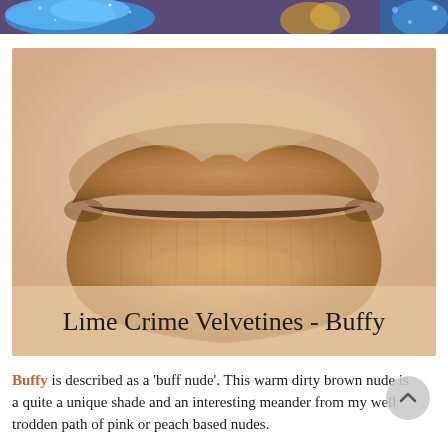[Figure (photo): Partial top image showing blue glitter and gold/yellow glitter against a purple/glitter background, cropped at the top of the page.]
[Figure (photo): Close-up photo of lips wearing Lime Crime Velvetines in the shade 'Buffy', a warm buff nude matte lipstick. The text 'Lime Crime Velvetines - Buffy' is overlaid in handwriting-style font at the bottom of the image.]
Buffy is described as a 'buff nude'. This warm dirty brown nude is a quite a unique shade and an interesting meander from my well trodden path of pink or peach based nudes.